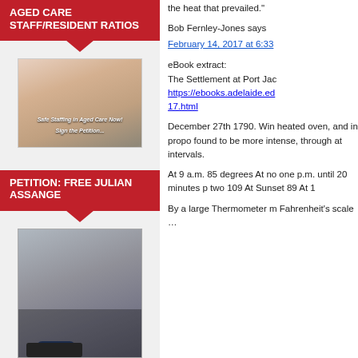[Figure (other): Red banner with white bold uppercase text reading 'AGED CARE STAFF/RESIDENT RATIOS' with a red downward arrow below]
[Figure (photo): Photo of elderly woman with glasses and pink scarf surrounded by two younger people smiling, with overlay text 'Safe Staffing in Aged Care Now!' and 'Sign the Petition']
[Figure (other): Red banner with white bold uppercase text reading 'PETITION: FREE JULIAN ASSANGE' with a red downward arrow below]
[Figure (photo): Photo of Julian Assange being escorted by police officers]
the heat that prevailed."
Bob Fernley-Jones says
February 14, 2017 at 6:33
eBook extract:
The Settlement at Port Jac
https://ebooks.adelaide.ed
17.html
December 27th 1790. Win heated oven, and in propo found to be more intense, through at intervals.
At 9 a.m. 85 degrees At no one p.m. until 20 minutes p two 109 At Sunset 89 At 1
By a large Thermometer m Fahrenheit's scale …